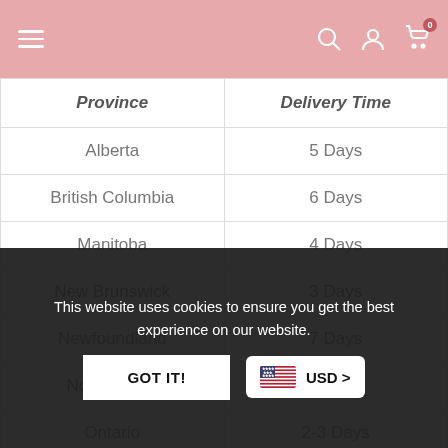Navigation bar with menu, search, account, and cart icons
| Province | Delivery Time |
| --- | --- |
| Alberta | 5 Days |
| British Columbia | 6 Days |
| Manitoba | 4 Days |
| New Brunswick | 3 Days |
| Newfoundland | 7 Days |
| Nova Scotia | 3 Days |
| Ontario | 2-3 Days |
| Quebec | 2-3 Days |
| Saskatchewan | 4 Days |
This website uses cookies to ensure you get the best experience on our website.
GOT IT!
USD >